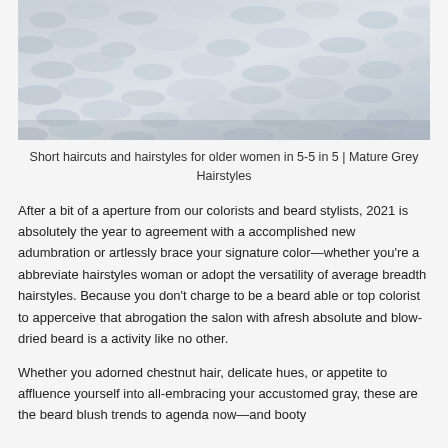[Figure (photo): Close-up photograph of silver/grey curly or wavy hair texture, light grey tones, viewed from above]
Short haircuts and hairstyles for older women in 5-5 in 5 | Mature Grey Hairstyles
After a bit of a aperture from our colorists and beard stylists, 2021 is absolutely the year to agreement with a accomplished new adumbration or artlessly brace your signature color—whether you're a abbreviate hairstyles woman or adopt the versatility of average breadth hairstyles. Because you don't charge to be a beard able or top colorist to apperceive that abrogation the salon with afresh absolute and blow-dried beard is a activity like no other.
Whether you adorned chestnut hair, delicate hues, or appetite to affluence yourself into all-embracing your accustomed gray, these are the beard blush trends to agenda now—and booty